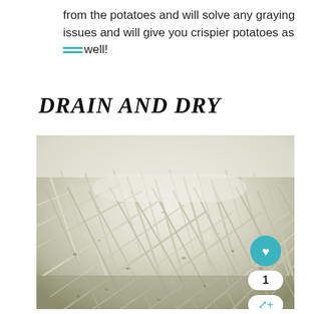from the potatoes and will solve any graying issues and will give you crispier potatoes as well!
DRAIN AND DRY
[Figure (photo): Close-up photo of shredded raw potatoes in a white bowl, showing thin white/cream colored potato shreds piled high, with a teal heart button, a count of 1, and a share button overlaid on the bottom right of the image.]